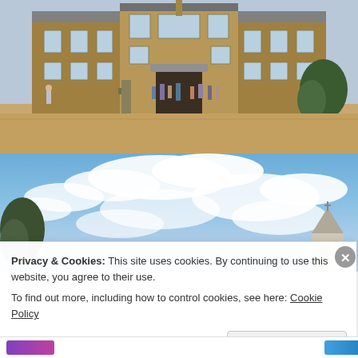[Figure (photo): Photograph of a historic stone manor house/castle with multiple stories, large mullioned windows, and a central arched entrance. Several visitors are walking across a gravel courtyard in front of the building. Trees visible on the right side. Sandy-stone coloured facade with slate roof elements.]
[Figure (photo): Photograph showing a partly cloudy blue sky with white cumulus clouds, and a partial view of what appears to be a church or historic building spire/turret in the lower right corner. Trees visible on the left edge.]
Privacy & Cookies: This site uses cookies. By continuing to use this website, you agree to their use.
To find out more, including how to control cookies, see here: Cookie Policy
Close and accept